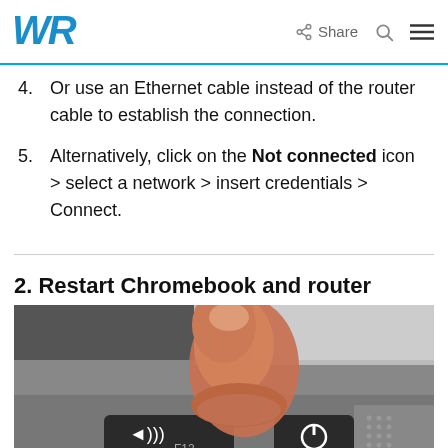WR | Share
4. Or use an Ethernet cable instead of the router cable to establish the connection.
5. Alternatively, click on the Not connected icon > select a network > insert credentials > Connect.
2. Restart Chromebook and router
[Figure (photo): A finger pressing a key (power/F12 key) on a Chromebook laptop keyboard]